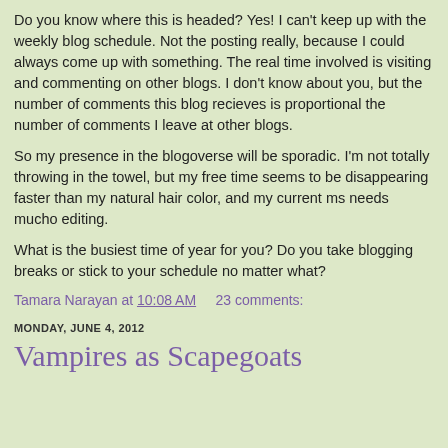Do you know where this is headed? Yes! I can't keep up with the weekly blog schedule. Not the posting really, because I could always come up with something. The real time involved is visiting and commenting on other blogs. I don't know about you, but the number of comments this blog recieves is proportional the number of comments I leave at other blogs.
So my presence in the blogoverse will be sporadic. I'm not totally throwing in the towel, but my free time seems to be disappearing faster than my natural hair color, and my current ms needs mucho editing.
What is the busiest time of year for you? Do you take blogging breaks or stick to your schedule no matter what?
Tamara Narayan at 10:08 AM    23 comments:
MONDAY, JUNE 4, 2012
Vampires as Scapegoats